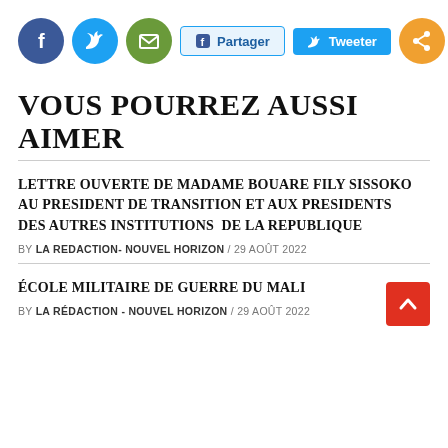[Figure (infographic): Social media sharing icons bar: Facebook (blue circle), Twitter (light blue circle), Email/mail (green circle), Partager button (light blue with Facebook icon), Tweeter button (blue with Twitter bird), Share (orange circle with share icon)]
VOUS POURREZ AUSSI AIMER
LETTRE OUVERTE DE MADAME BOUARE FILY SISSOKO AU PRESIDENT DE TRANSITION ET AUX PRESIDENTS DES AUTRES INSTITUTIONS  DE LA REPUBLIQUE
BY LA REDACTION- NOUVEL HORIZON / 29 AOÛT 2022
ÉCOLE MILITAIRE DE GUERRE DU MALI
BY LA RÉDACTION - NOUVEL HORIZON / 29 AOÛT 2022